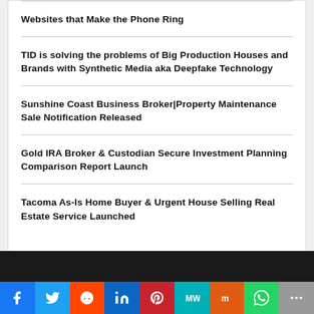Websites that Make the Phone Ring
TID is solving the problems of Big Production Houses and Brands with Synthetic Media aka Deepfake Technology
Sunshine Coast Business Broker|Property Maintenance Sale Notification Released
Gold IRA Broker & Custodian Secure Investment Planning Comparison Report Launch
Tacoma As-Is Home Buyer & Urgent House Selling Real Estate Service Launched